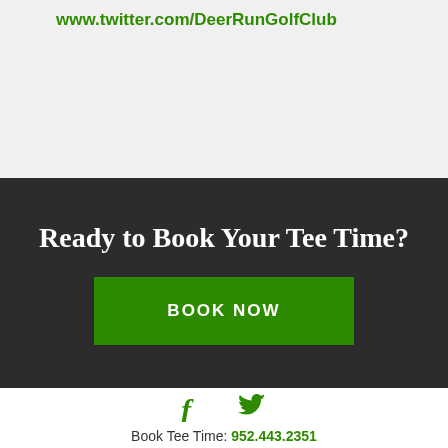www.twitter.com/DeerRunGolfClub
Ready to Book Your Tee Time?
BOOK NOW
[Figure (illustration): Facebook and Twitter social media icons in green]
Book Tee Time: 952.443.2351